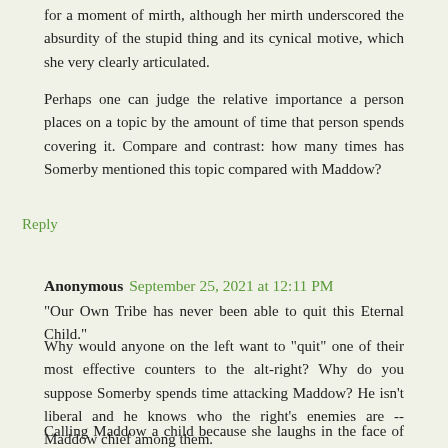for a moment of mirth, although her mirth underscored the absurdity of the stupid thing and its cynical motive, which she very clearly articulated.
Perhaps one can judge the relative importance a person places on a topic by the amount of time that person spends covering it. Compare and contrast: how many times has Somerby mentioned this topic compared with Maddow?
Reply
Anonymous September 25, 2021 at 12:11 PM
"Our Own Tribe has never been able to quit this Eternal Child."
Why would anyone on the left want to "quit" one of their most effective counters to the alt-right? Why do you suppose Somerby spends time attacking Maddow? He isn't liberal and he knows who the right's enemies are -- Maddow chief among them.
Calling Maddow a child because she laughs in the face of Trump claiming vindication from a report that shows he lost bigly in AZ is about as stupid as anything Somerby has said for a long time.